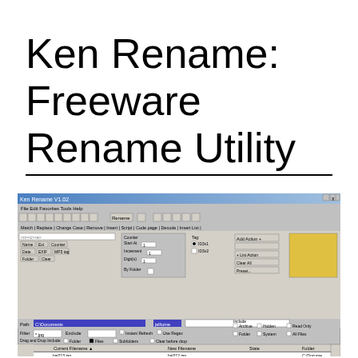Ken Rename: Freeware Rename Utility
[Figure (screenshot): Screenshot of Ken Rename V1.02 application window showing file rename utility with tabs (Match, Replace, Change Case, Remove, Insert, Script, Code page, Decode, Insert List), Counter and Tag settings, a file browser showing C:\Documents path with jpg files listed, and New Filename column showing renamed files.]